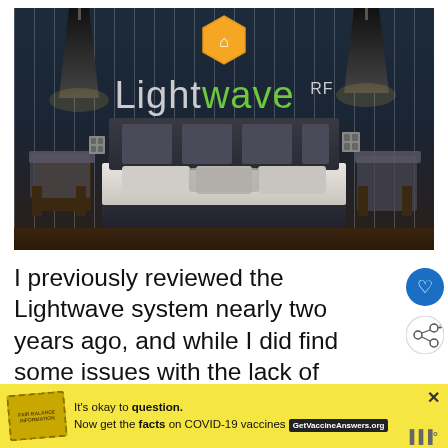[Figure (photo): LightwaveRF branded bedroom scene with dark walls, modern bed with pillows, pendant lamps, and the LightwaveRF logo with orange hexagon icon displayed prominently at the top center of the image]
I previously reviewed the Lightwave system nearly two years ago, and while I did find some issues with the lack of customisation, the main story c... an
[Figure (other): Blue circular like/heart button and white circular share button for social media interaction]
[Figure (other): Yellow advertisement banner for COVID-19 vaccine information: It's okay to question. Now get the facts on COVID-19 vaccines. GetVaccineAnswers.org]